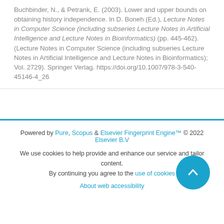Buchbinder, N., & Petrank, E. (2003). Lower and upper bounds on obtaining history independence. In D. Boneh (Ed.), Lecture Notes in Computer Science (including subseries Lecture Notes in Artificial Intelligence and Lecture Notes in Bioinformatics) (pp. 445-462). (Lecture Notes in Computer Science (including subseries Lecture Notes in Artificial Intelligence and Lecture Notes in Bioinformatics); Vol. 2729). Springer Verlag. https://doi.org/10.1007/978-3-540-45146-4_26
Powered by Pure, Scopus & Elsevier Fingerprint Engine™ © 2022 Elsevier B.V
We use cookies to help provide and enhance our service and tailor content. By continuing you agree to the use of cookies
About web accessibility